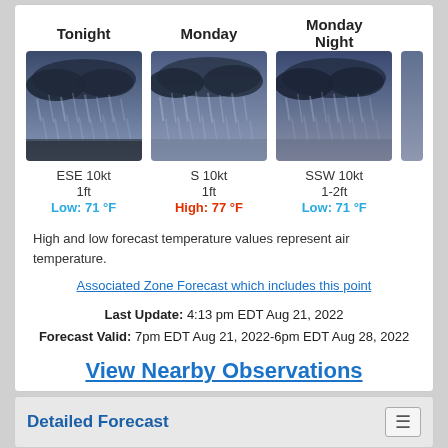[Figure (infographic): Three weather forecast cards side by side for Tonight, Monday, and Monday Night showing rainy weather images with wind, wave heights, and temperatures]
Tonight | ESE 10kt | 1ft | Low: 71 °F
Monday | S 10kt | 1ft | High: 77 °F
Monday Night | SSW 10kt | 1-2ft | Low: 71 °F
High and low forecast temperature values represent air temperature.
Associated Zone Forecast which includes this point
Last Update: 4:13 pm EDT Aug 21, 2022
Forecast Valid: 7pm EDT Aug 21, 2022-6pm EDT Aug 28, 2022
View Nearby Observations
Detailed Forecast